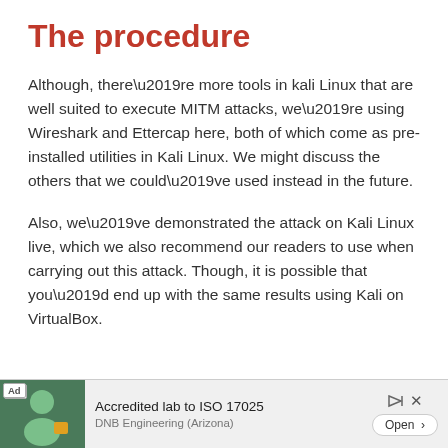The procedure
Although, there’re more tools in kali Linux that are well suited to execute MITM attacks, we’re using Wireshark and Ettercap here, both of which come as pre-installed utilities in Kali Linux. We might discuss the others that we could’ve used instead in the future.
Also, we’ve demonstrated the attack on Kali Linux live, which we also recommend our readers to use when carrying out this attack. Though, it is possible that you’d end up with the same results using Kali on VirtualBox.
[Figure (other): Advertisement banner: Accredited lab to ISO 17025 - DNB Engineering (Arizona). Shows an Ad label, a photo of a person, and an Open button.]